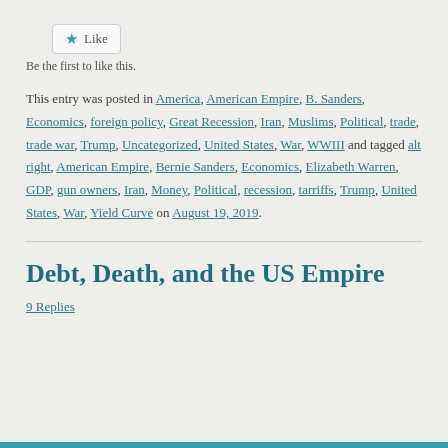[Figure (other): Like button widget with star icon]
Be the first to like this.
This entry was posted in America, American Empire, B. Sanders, Economics, foreign policy, Great Recession, Iran, Muslims, Political, trade, trade war, Trump, Uncategorized, United States, War, WWIII and tagged alt right, American Empire, Bernie Sanders, Economics, Elizabeth Warren, GDP, gun owners, Iran, Money, Political, recession, tarriffs, Trump, United States, War, Yield Curve on August 19, 2019.
Debt, Death, and the US Empire
9 Replies